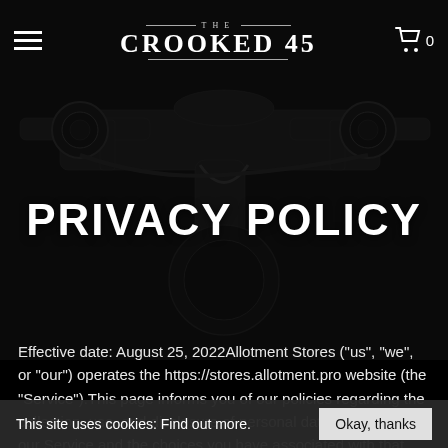THE CROOKED 45
PRIVACY POLICY
Effective date: August 25, 2022Allotment Stores ("us", "we", or "our") operates the https://stores.allotment.pro website (the "Service").This page informs you of our policies regarding the collection, use, and disclosure of personal data when you use our Service and the choices you have associated with that data.We use your data to provide and improve the Service. By using the Service, you agree to the collection and use of information in
This site uses cookies: Find out more.